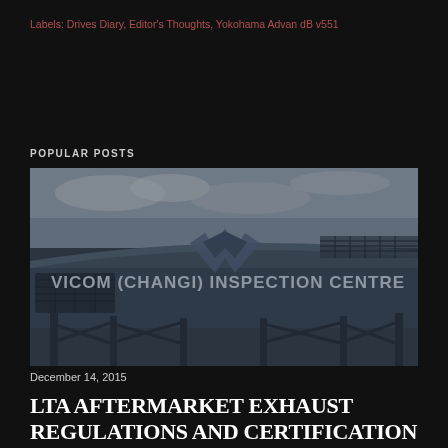Labels: Drives Diary, Editor's Thoughts, Yokohama Advan dB v551
POPULAR POSTS
[Figure (photo): Exterior photo of VICOM (Changi) Inspection Centre building, showing the curved roof structure with large signage and the VICOM logo. Blue-grey tones, overcast sky.]
December 14, 2015
LTA AFTERMARKET EXHAUST REGULATIONS AND CERTIFICATION